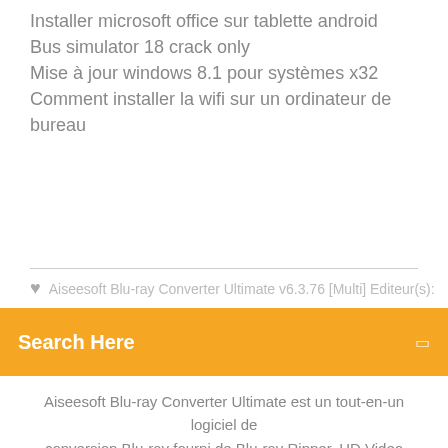Installer microsoft office sur tablette android
Bus simulator 18 crack only
Mise à jour windows 8.1 pour systèmes x32
Comment installer la wifi sur un ordinateur de bureau
Aiseesoft Blu-ray Converter Ultimate v6.3.76 [Multi] Editeur(s):
Search Here
Aiseesoft Blu-ray Converter Ultimate est un tout-en-un logiciel de conversion Blu-ray fourni de Blu-ray Ripper, HD Video Converter, iPod Transfer ...
See Here to Download BitDefender Business Security 1 Year 65 PCs Now! Descargar CCleaner 4.06.4324 Professional + Business Edition 2013 bueno, amigos